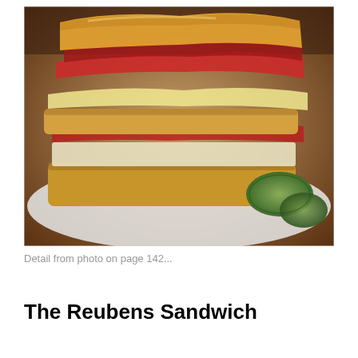[Figure (photo): Close-up photograph of a Reuben sandwich with layers of corned beef, melted cheese, and sauerkraut on toasted rye bread, served on a white plate with pickle garnish]
Detail from photo on page 142...
The Reubens Sandwich